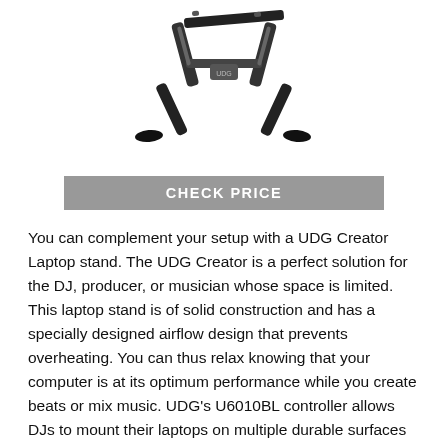[Figure (photo): Product photo of a UDG Creator laptop stand, black aluminum frame with folding legs, shown at an angle against white background]
CHECK PRICE
You can complement your setup with a UDG Creator Laptop stand. The UDG Creator is a perfect solution for the DJ, producer, or musician whose space is limited. This laptop stand is of solid construction and has a specially designed airflow design that prevents overheating. You can thus relax knowing that your computer is at its optimum performance while you create beats or mix music. UDG's U6010BL controller allows DJs to mount their laptops on multiple durable surfaces while maintaining a lightweight aluminum structure.
DJ equipment this solid fits multiple environments and meets many requirements. Using the UDG also prevents overheating and keeps your computer running at its best.